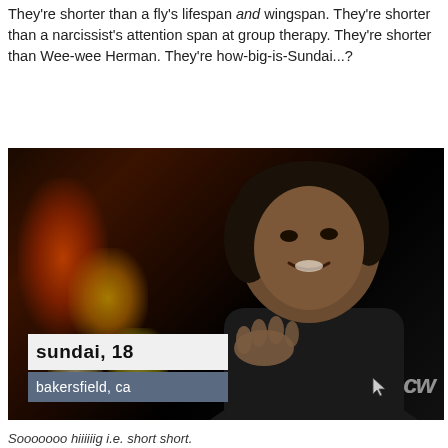They're shorter than a fly's lifespan and wingspan. They're shorter than a narcissist's attention span at group therapy. They're shorter than Wee-wee Herman. They're how-big-is-Sundai...?
[Figure (photo): TV screenshot of a young woman named Sundai, 18, from Bakersfield, CA, appearing on The CW network. She is smiling and gesturing with her hand. A lower-third graphic shows 'sundai, 18' in bold on a light background and 'bakersfield, ca' on a blue-grey bar below. The CW logo appears bottom right. Background shows warm bokeh lights in reds and yellows.]
Sooooooo hiiiiiig i.e. short short.